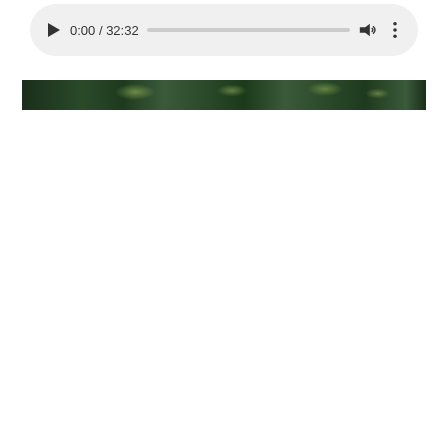[Figure (screenshot): Video player controls showing play button, time display 0:00 / 32:32, progress bar, volume icon, and more options icon on a light gray rounded pill-shaped background]
[Figure (photo): A thin horizontal strip of a video thumbnail showing dark green foliage/trees with dappled light, appears to be the first frame or preview of the video]